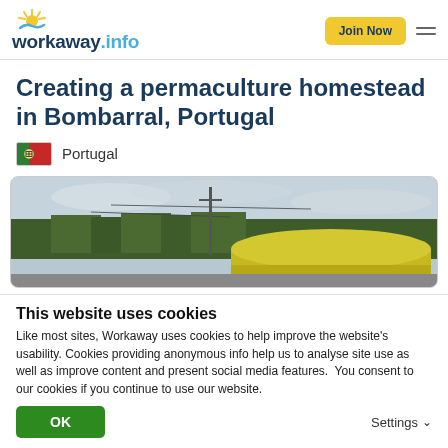workaway.info — Join Now
Creating a permaculture homestead in Bombarral, Portugal
Portugal
[Figure (photo): Outdoor photo showing a yellow van or vehicle with a rounded roof in the foreground, a treeline of dark green conifers in the background, power lines strung across the overcast grey sky, and a utility pole in the center.]
This website uses cookies
Like most sites, Workaway uses cookies to help improve the website's usability. Cookies providing anonymous info help us to analyse site use as well as improve content and present social media features.  You consent to our cookies if you continue to use our website.
OK    Settings